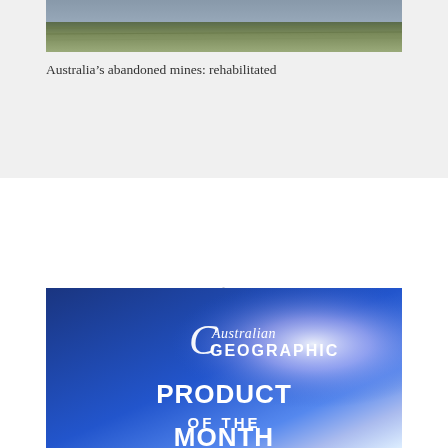[Figure (photo): Partial view of a rehabilitated mine landscape — grassy terrain, top portion of image visible]
Australia’s abandoned mines: rehabilitated
[Figure (other): Loading spinner — a large 'C' shaped arc indicating content is loading]
[Figure (illustration): Australian Geographic Product of the Month advertisement banner with blue sky background, logo, and bold text]